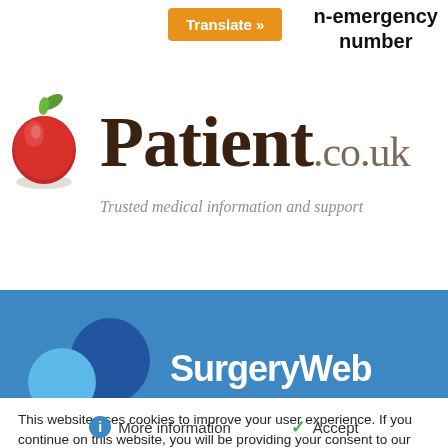[Figure (screenshot): Orange 'Translate »' button in top navigation bar]
n-emergency number
[Figure (logo): Patient.co.uk logo with red apple icon and text 'Patient.co.uk — Trusted medical information and support']
[Figure (screenshot): SurgeryWeb banner with blue background, dark blue and light blue circles, and white 'SurgeryWeb' text]
This website uses cookies to improve your user experience. If you continue on this website, you will be providing your consent to our use of cookies.
ℹ More information   ✓ Accept